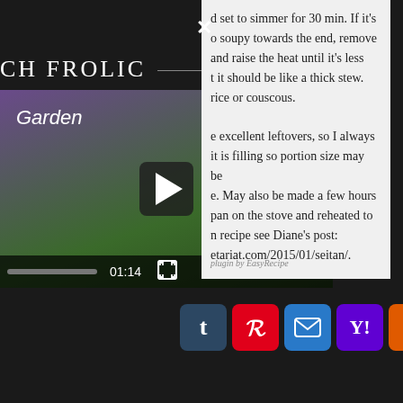[Figure (screenshot): Screenshot of a website overlay showing a video player on the left with a garden video thumbnail labeled 'Garden', play button, progress bar showing 01:14, and close (X) button. On the right is a recipe text card with partial instructions about simmering, leftovers, and a link to vegetariat.com/2015/01/seitan/. At the bottom are social share icons: Tumblr, Pinterest, Email, Yahoo, Yummly, Gmail, and a more button.]